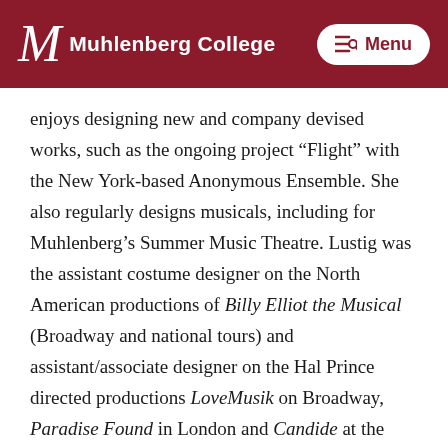Muhlenberg College
enjoys designing new and company devised works, such as the ongoing project “Flight” with the New York-based Anonymous Ensemble. She also regularly designs musicals, including for Muhlenberg’s Summer Music Theatre. Lustig was the assistant costume designer on the North American productions of Billy Elliot the Musical (Broadway and national tours) and assistant/associate designer on the Hal Prince directed productions LoveMusik on Broadway, Paradise Found in London and Candide at the New York City Opera.
Lustig earned her B.A. in Theater from the University